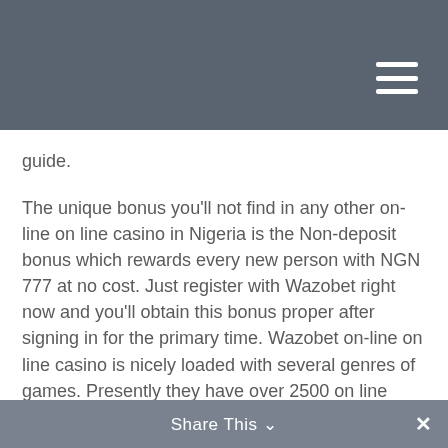guide.
The unique bonus you'll not find in any other on-line on line casino in Nigeria is the Non-deposit bonus which rewards every new person with NGN 777 at no cost. Just register with Wazobet right now and you'll obtain this bonus proper after signing in for the primary time. Wazobet on-line on line casino is nicely loaded with several genres of games. Presently they have over 2500 on line casino games on their platform, games that cowl all kind of slot games. You can play in an unlimited quantity of roulette video games, blackjack, baccarat, sic Bo and a lot more. If we keep in mind solely the initial bonus offers, then there isn't a clear winner right here.
That is why there are few issues you need to examine
Share This